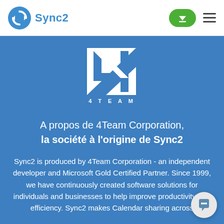Sync2
[Figure (logo): 4TEAM logo — white square with blue stylized number 4, text '4 T E A M' below]
A propos de 4Team Corporation, la société à l'origine de Sync2
Sync2 is produced by 4Team Corporation - an independent developer and Microsoft Gold Certified Partner. Since 1999, we have continuously created software solutions for individuals and businesses to help improve productivity and efficiency. Sync2 makes Calendar sharing across